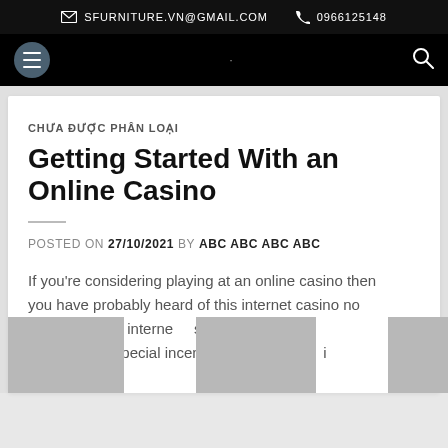SFURNITURE.VN@GMAIL.COM   0966125148
[Figure (screenshot): Navigation bar with hamburger menu icon on left and search icon on right, black background]
CHƯA ĐƯỢC PHÂN LOẠI
Getting Started With an Online Casino
POSTED ON 27/10/2021 BY ABC ABC ABC ABC
If you're considering playing at an online casino then you have probably heard of this internet casino no deposit bonus. All of internet casinos would impress players with special incentives depending on their